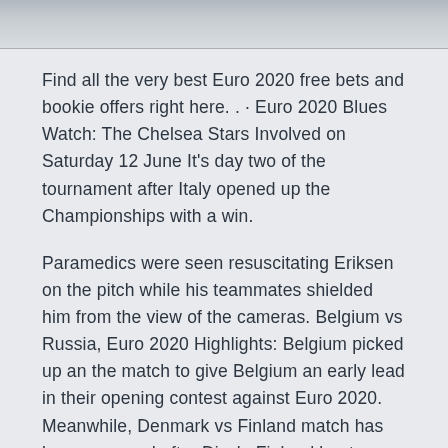[Figure (photo): Partial image strip at the top of the page showing a blurred/greyed out photograph]
Find all the very best Euro 2020 free bets and bookie offers right here. . · Euro 2020 Blues Watch: The Chelsea Stars Involved on Saturday 12 June It's day two of the tournament after Italy opened up the Championships with a win.
Paramedics were seen resuscitating Eriksen on the pitch while his teammates shielded him from the view of the cameras. Belgium vs Russia, Euro 2020 Highlights: Belgium picked up an the match to give Belgium an early lead in their opening contest against Euro 2020. Meanwhile, Denmark vs Finland match has been resumed after Discla Finland beat Denmark 1-0 in their opening match of Euro 2020 which was overshadowed by Christian Eriksen collapsing and having to be. Every